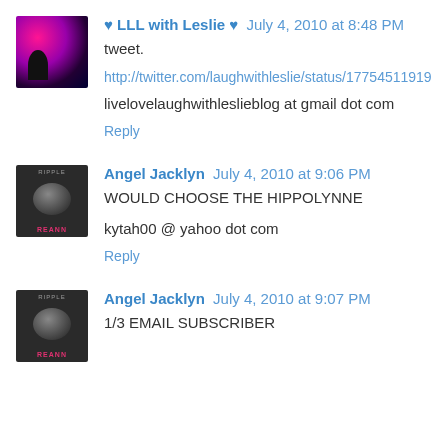♥ LLL with Leslie ♥ July 4, 2010 at 8:48 PM
tweet.
http://twitter.com/laughwithleslie/status/17754511919
livelovelaughwithleslieblog at gmail dot com
Reply
Angel Jacklyn July 4, 2010 at 9:06 PM
WOULD CHOOSE THE HIPPOLYNNE
kytah00 @ yahoo dot com
Reply
Angel Jacklyn July 4, 2010 at 9:07 PM
1/3 EMAIL SUBSCRIBER